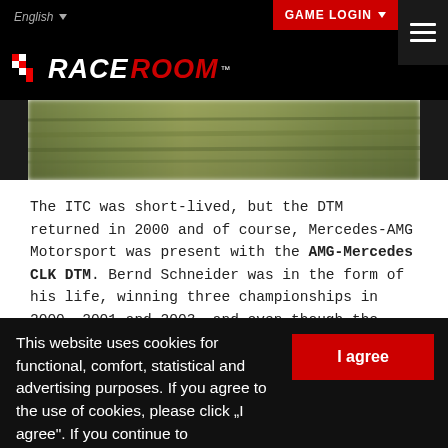English | GAME LOGIN
[Figure (logo): RaceRoom logo — white RACE and red ROOM in italic bold text with a checkered flag icon]
[Figure (photo): Blurred motion photo of grass/track background, partial view of a racing car]
The ITC was short-lived, but the DTM returned in 2000 and of course, Mercedes-AMG Motorsport was present with the AMG-Mercedes CLK DTM. Bernd Schneider was in the form of his life, winning three championships in 2000, 2001 and 2003, and even though the ruleset restricted the cars more than in past
This website uses cookies for functional, comfort, statistical and advertising purposes. If you agree to the use of cookies, please click "I agree". If you continue to
I agree